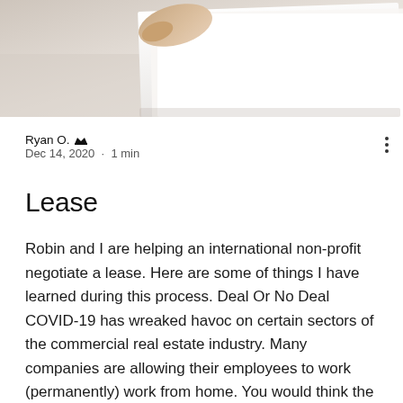[Figure (photo): A close-up photo of hands holding or flipping through papers/documents on a desk, partially visible at the top of the page.]
Ryan O. [admin crown icon]
Dec 14, 2020 · 1 min
Lease
Robin and I are helping an international non-profit negotiate a lease. Here are some of things I have learned during this process. Deal Or No Deal COVID-19 has wreaked havoc on certain sectors of the commercial real estate industry. Many companies are allowing their employees to work (permanently) work from home. You would think the office market would be pretty soft. Well, not really. As we were searching for properties, some landlords were firm on their price. Also, Robin a